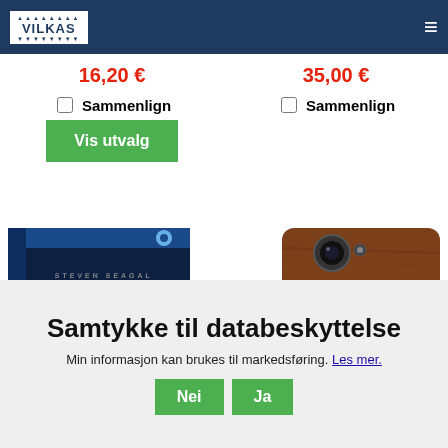Vilkas navigation bar
16,20 €
Sammenlign
Vis utvalg
35,00 €
Sammenlign
[Figure (photo): Under Siege 2 Dark Territory Blu-ray movie cover]
[Figure (photo): Wooden iPhone case with apple leaf design]
Samtykke til databeskyttelse
Min informasjon kan brukes til markedsføring. Les mer.
Nei  Ja